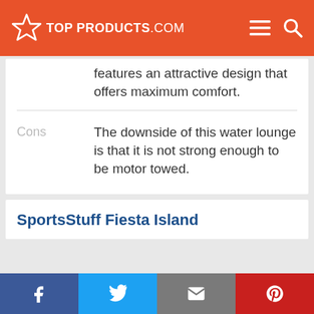TOPPRODUCTS.COM
features an attractive design that offers maximum comfort.
Cons
The downside of this water lounge is that it is not strong enough to be motor towed.
SportsStuff Fiesta Island
Facebook | Twitter | Email | Pinterest